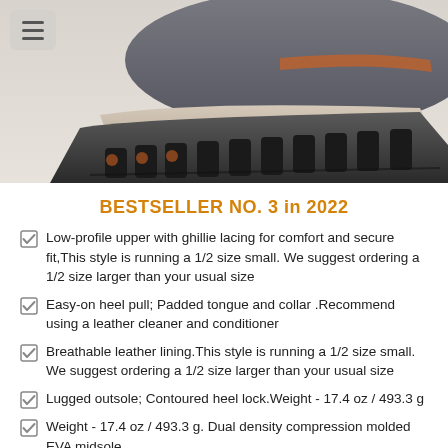[Figure (photo): Close-up photo of the bottom/sole of a grey hiking shoe with orange accents and lugged rubber outsole]
BESTSELLER NO. 3 in 2022
Low-profile upper with ghillie lacing for comfort and secure fit,This style is running a 1/2 size small. We suggest ordering a 1/2 size larger than your usual size
Easy-on heel pull; Padded tongue and collar .Recommend using a leather cleaner and conditioner
Breathable leather lining.This style is running a 1/2 size small. We suggest ordering a 1/2 size larger than your usual size
Lugged outsole; Contoured heel lock.Weight - 17.4 oz / 493.3 g
Weight - 17.4 oz / 493.3 g. Dual density compression molded EVA midsole